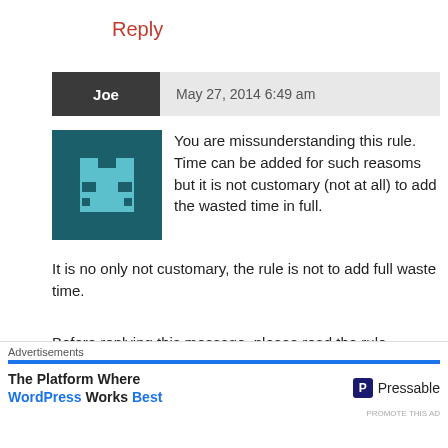Reply
Joe   May 27, 2014 6:49 am
[Figure (illustration): Pixel art avatar of a robot/alien face on dark teal background]
You are missunderstanding this rule. Time can be added for such reasoms but it is not customary (not at all) to add the wasted time in full. It is no only not customary, the rule is not to add full waste time.
Before replying this message, please read the rule again considering that a proportional part
Advertisements
The Platform Where WordPress Works Best   Pressable